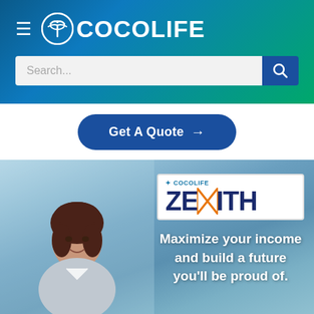[Figure (screenshot): Cocolife insurance website header with gradient background (blue to green), hamburger menu icon, Cocolife logo in white, and a search bar with blue search button]
[Figure (screenshot): Get A Quote button with right arrow, dark blue rounded pill shape on white background]
[Figure (photo): Hero banner showing a smiling Asian businesswoman in an office setting with blurred background, Cocolife Zenith product logo and tagline 'Maximize your income and build a future you'll be proud of.']